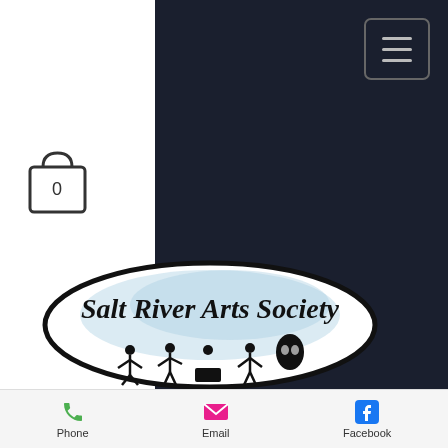[Figure (logo): Salt River Arts Society oval logo with script text and band silhouettes]
If you're keen on sailing to the far corners of our casino, we guarantee you will always find some fascinating games to play, painted hand casino parkland room. At Captain Jack Casino, there is a fair treasure trove of excitement to be had! While we do offer you the chance to download our casino, It's just as easy to select the instant play option
Phone  Email  Facebook